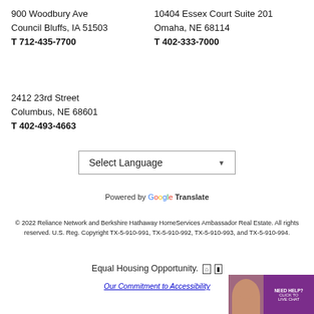900 Woodbury Ave
Council Bluffs, IA 51503
T 712-435-7700
10404 Essex Court Suite 201
Omaha, NE 68114
T 402-333-7000
2412 23rd Street
Columbus, NE 68601
T 402-493-4663
[Figure (other): Select Language dropdown widget]
Powered by Google Translate
© 2022 Reliance Network and Berkshire Hathaway HomeServices Ambassador Real Estate. All rights reserved. U.S. Reg. Copyright TX-5-910-991, TX-5-910-992, TX-5-910-993, and TX-5-910-994.
Equal Housing Opportunity.
Our Commitment to Accessibility
[Figure (other): Live chat widget with agent photo, purple background, 'NEED HELP? CLICK TO LIVE CHAT' text]